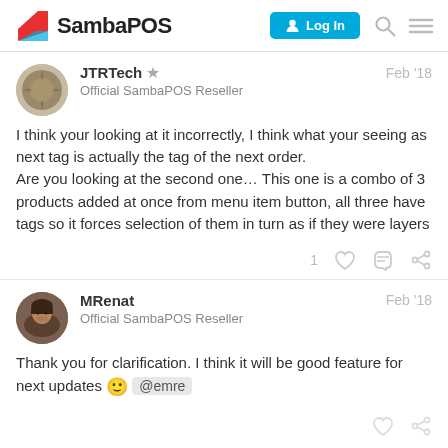SambaPOS — Log In
JTRTech · Official SambaPOS Reseller · Feb '18
I think your looking at it incorrectly, I think what your seeing as next tag is actually the tag of the next order.
Are you looking at the second one… This one is a combo of 3 products added at once from menu item button, all three have tags so it forces selection of them in turn as if they were layers
MRenat · Official SambaPOS Reseller · Feb '18
Thank you for clarification. I think it will be good feature for next updates 🙂 @emre